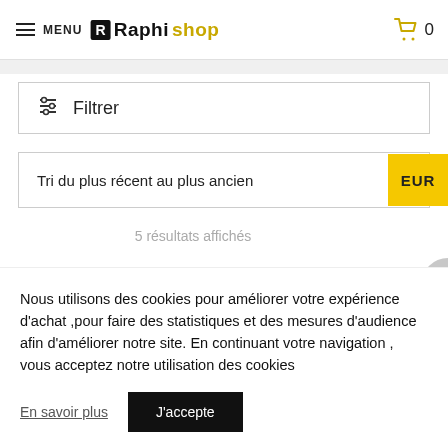MENU | RAPHISHOP | 0
Filtrer
Tri du plus récent au plus ancien
EUR
5 résultats affichés
Nous utilisons des cookies pour améliorer votre expérience d'achat ,pour faire des statistiques et des mesures d'audience afin d'améliorer notre site. En continuant votre navigation , vous acceptez notre utilisation des cookies
En savoir plus
J'accepte